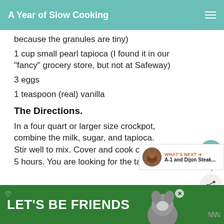A Year of Slow Cooking
because the granules are tiny)
1 cup small pearl tapioca (I found it in our "fancy" grocery store, but not at Safeway)
3 eggs
1 teaspoon (real) vanilla
The Directions.
In a four quart or larger size crockpot, combine the milk, sugar, and tapioca. Stir well to mix. Cover and cook on high for 2-5 hours. You are looking for the tapioca to be